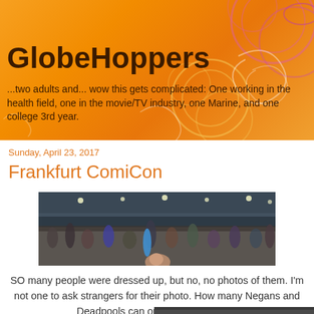GlobeHoppers
...two adults and... wow this gets complicated: One working in the health field, one in the movie/TV industry, one Marine, and one college 3rd year.
Sunday, April 23, 2017
Frankfurt ComiCon
[Figure (photo): Wide panoramic photo of Frankfurt ComiCon convention floor with crowds of people in costumes, large indoor venue with high ceilings and lights]
SO many people were dressed up, but no, no photos of them. I'm not one to ask strangers for their photo.  How many Negans and Deadpools can one ComiCon hold?
[Figure (photo): Partial photo visible at bottom of page showing a ComiCon scene]